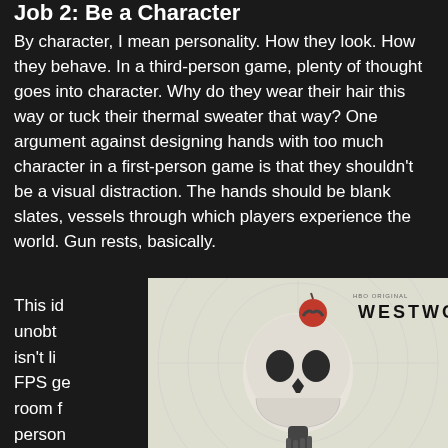Job 2: Be a Character
By character, I mean personality. How they look. How they behave. In a third-person game, plenty of thought goes into character. Why do they wear their hair this way or tuck their thermal sweater that way? One argument against designing hands with too much character in a first-person game is that they shouldn't be a visual distraction. The hands should be blank slates, vessels through which players experience the world. Gun rests, basically.
This id[ea isn't] unobt[rusive] isn't li[mited to] FPS ge[nre] room f[or] person[ality] excuse[s]
[Figure (screenshot): Westworld HBO show advertisement with skull and robotic hand imagery]
[Figure (screenshot): HBO Max advertisement with purple background promoting battle for the future, plans start at $9.99/month, with an e+ logo overlay]